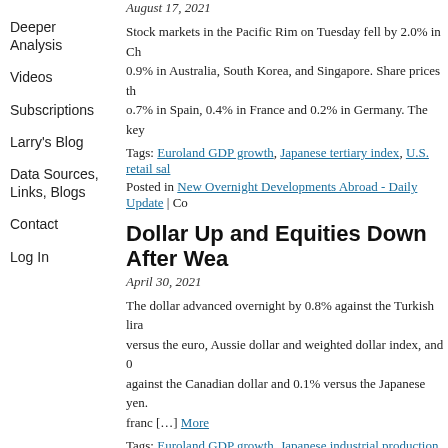August 17, 2021
Deeper Analysis
Videos
Subscriptions
Larry's Blog
Data Sources, Links, Blogs
Contact
Log In
Stock markets in the Pacific Rim on Tuesday fell by 2.0% in Ch... 0.9% in Australia, South Korea, and Singapore. Share prices th... o.7% in Spain, 0.4% in France and 0.2% in Germany. The key
Tags: Euroland GDP growth, Japanese tertiary index, U.S. retail sal...
Posted in New Overnight Developments Abroad - Daily Update | Co...
Dollar Up and Equities Down After Wea...
April 30, 2021
The dollar advanced overnight by 0.8% against the Turkish lira... versus the euro, Aussie dollar and weighted dollar index, and 0... against the Canadian dollar and 0.1% versus the Japanese yen. franc [...] More
Tags: Euroland GDP growth, Japanese industrial production and un...
Posted in New Overnight Developments Abroad - Daily Update | Co...
Here Comes the Sun: Less Fear and M...
March 9, 2021
Investors are believing more and more that 2021 is gonna be a... been a mixed 2020. The OECD...